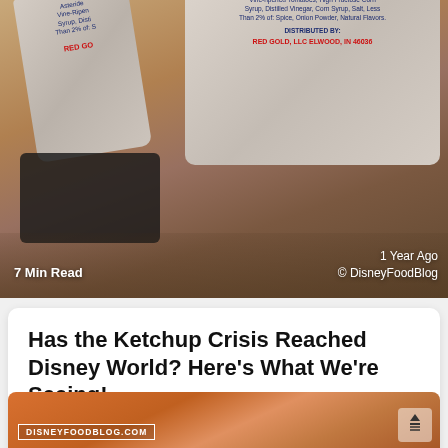[Figure (photo): Close-up photo of ketchup packets (Red Gold brand) on a wooden/brown table surface with a black tray partially visible. Overlay text shows '7 Min Read' on the left and '© DisneyFoodBlog' on the right, with 'Year Ago' also visible.]
Has the Ketchup Crisis Reached Disney World? Here's What We're Seeing!
Every once in a while, we notice something strange in Disney World that catches our eye... Homecoming Ketchup ...but this week, we got more than we
[Figure (photo): Partial bottom photo showing what appears to be small ketchup cups or condiment containers on a restaurant table, with 'DISNEYFOODBLOG.COM' watermark text visible at the bottom left corner.]